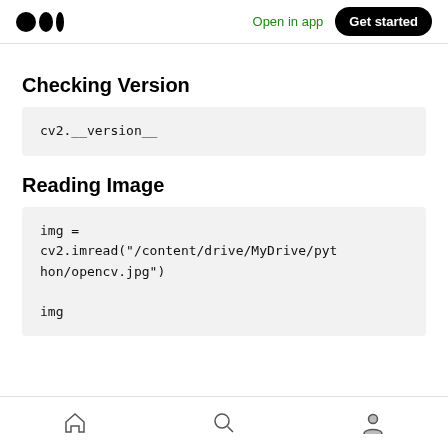Open in app  Get started
Checking Version
cv2.__version__
Reading Image
img = cv2.imread("/content/drive/MyDrive/python/opencv.jpg")

img
Home  Search  Profile